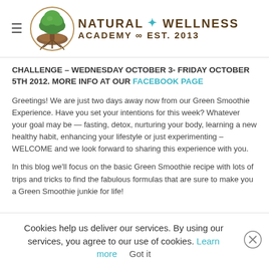Natural Wellness Academy ∞ Est. 2013
CHALLENGE – WEDNESDAY OCTOBER 3- FRIDAY OCTOBER 5TH 2012.  MORE INFO AT OUR FACEBOOK PAGE
Greetings!  We are just two days away now from our Green Smoothie Experience.  Have you set your intentions for this week?  Whatever your goal may be — fasting, detox, nurturing your body, learning a new healthy habit, enhancing your lifestyle  or just experimenting – WELCOME and we look forward to sharing this experience with you.
In this blog we'll focus on the basic Green Smoothie recipe with lots of trips and tricks to find the fabulous formulas that are sure to make you a Green Smoothie junkie for life!
Cookies help us deliver our services. By using our services, you agree to our use of cookies. Learn more  Got it